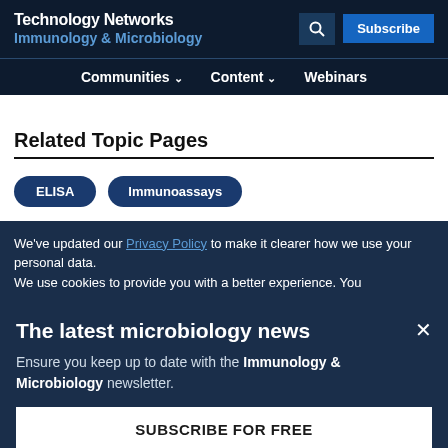Technology Networks
Immunology & Microbiology
Communities  Content  Webinars
Related Topic Pages
ELISA
Immunoassays
We've updated our Privacy Policy to make it clearer how we use your personal data.
We use cookies to provide you with a better experience. You
The latest microbiology news
Ensure you keep up to date with the Immunology & Microbiology newsletter.
SUBSCRIBE FOR FREE